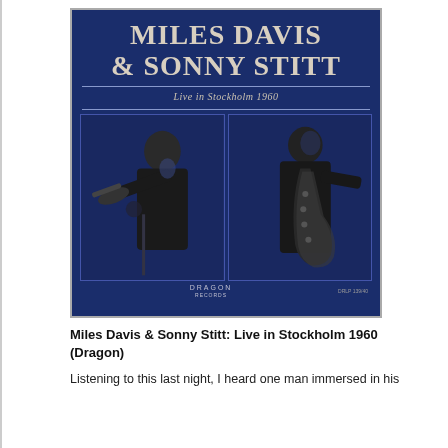[Figure (photo): Album cover for Miles Davis & Sonny Stitt: Live in Stockholm 1960 on Dragon Records. Dark blue background with large white serif text reading 'MILES DAVIS & SONNY STITT' at top, italic subtitle 'Live in Stockholm 1960' below a divider line, and two black-and-white photos side by side showing the musicians playing trumpet and saxophone respectively. 'DRAGON' label text at bottom center.]
Miles Davis & Sonny Stitt: Live in Stockholm 1960 (Dragon)
Listening to this last night, I heard one man immersed in his